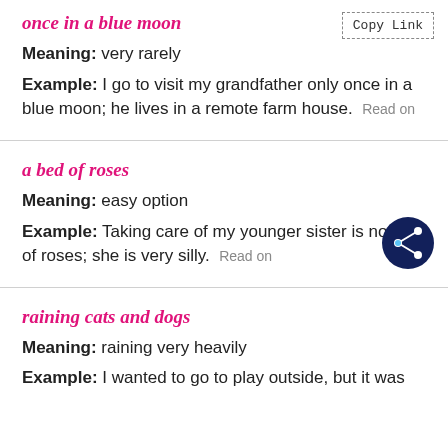once in a blue moon
Meaning: very rarely
Example: I go to visit my grandfather only once in a blue moon; he lives in a remote farm house. Read on
a bed of roses
Meaning: easy option
Example: Taking care of my younger sister is no bed of roses; she is very silly. Read on
raining cats and dogs
Meaning: raining very heavily
Example: I wanted to go to play outside, but it was